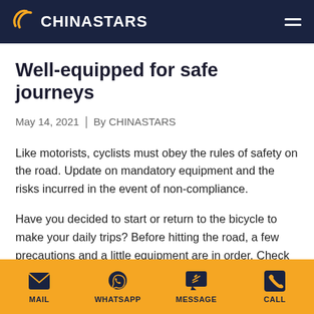CHINASTARS
Well-equipped for safe journeys
May 14, 2021  |  By CHINASTARS
Like motorists, cyclists must obey the rules of safety on the road. Update on mandatory equipment and the risks incurred in the event of non-compliance.
Have you decided to start or return to the bicycle to make your daily trips? Before hitting the road, a few precautions and a little equipment are in order. Check the list of mandatory equipment under
MAIL  WHATSAPP  MESSAGE  CALL